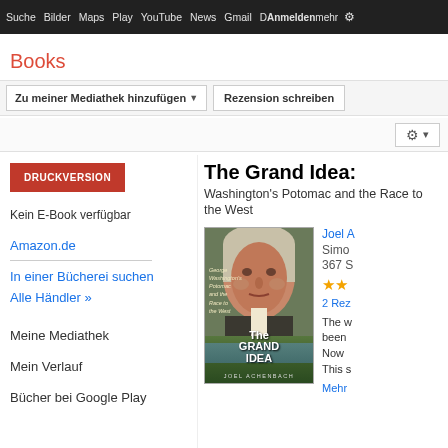Suche  Bilder  Maps  Play  YouTube  News  Gmail  Mehr  Anmelden  [settings]
Books
Zu meiner Mediathek hinzufügen ▼
Rezension schreiben
DRUCKVERSION
Kein E-Book verfügbar
Amazon.de
In einer Bücherei suchen
Alle Händler »
Meine Mediathek
Mein Verlauf
Bücher bei Google Play
The Grand Idea:
Washington's Potomac and the Race to the West
Joel A
Simo
367 S
★★
2 Rez
The w been Now This s
Mehr